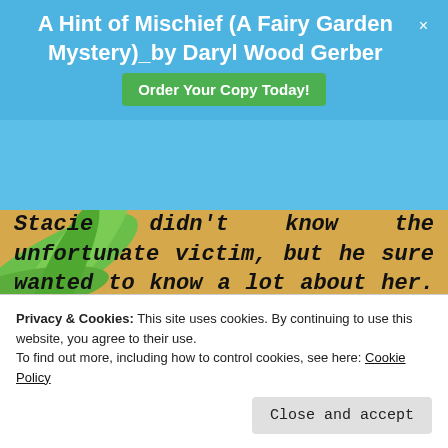A Hint of Mischief (A Fairy Garden Mystery)_by Daryl Wood Gerber  Order Your Copy Today!
Stacie didn't know the unfortunate victim, but he sure wanted to know a lot about her. He spent most of his final afternoon bombarding her with questions quite awkward to answer. And when he wasn't in her hair, he was arguing incessantly with the boat's beleaguered crew.
Privacy & Cookies: This site uses cookies. By continuing to use this website, you agree to their use.
To find out more, including how to control cookies, see here: Cookie Policy